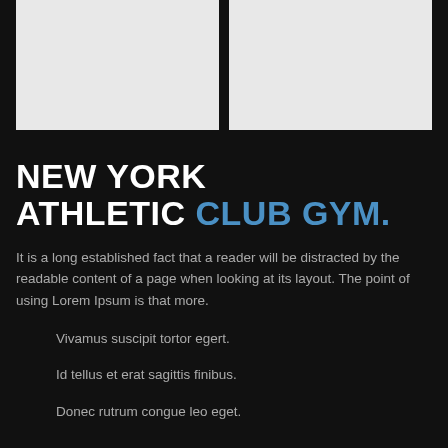[Figure (photo): Two gray placeholder image boxes side by side at the top of the page]
NEW YORK ATHLETIC CLUB GYM.
It is a long established fact that a reader will be distracted by the readable content of a page when looking at its layout. The point of using Lorem Ipsum is that more.
Vivamus suscipit tortor egert.
Id tellus et erat sagittis finibus.
Donec rutrum congue leo eget.